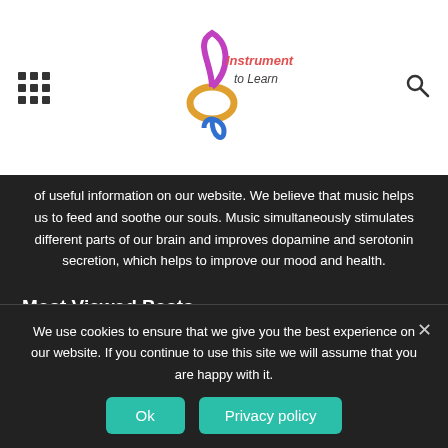Instrument to Learn — website header with logo, grid menu icon, and search icon
of useful information on our website. We believe that music helps us to feed and soothe our souls. Music simultaneously stimulates different parts of our brain and improves dopamine and serotonin secretion, which helps to improve our mood and health.
Most Viewed Posts
Piano Scales Chart Guide for Beginners
July 19, 2021
We use cookies to ensure that we give you the best experience on our website. If you continue to use this site we will assume that you are happy with it.